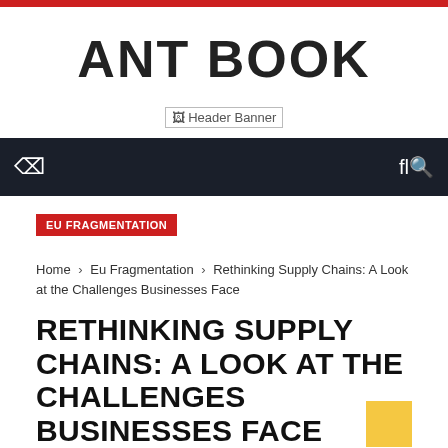ANT BOOK
[Figure (other): Header Banner placeholder image]
Navigation bar with menu and search icons
EU FRAGMENTATION
Home › Eu Fragmentation › Rethinking Supply Chains: A Look at the Challenges Businesses Face
RETHINKING SUPPLY CHAINS: A LOOK AT THE CHALLENGES BUSINESSES FACE